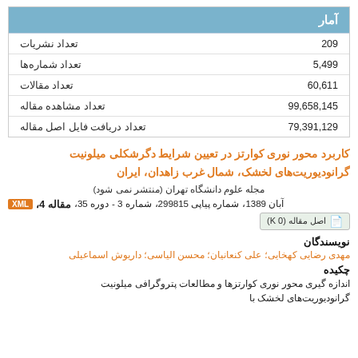| آمار |  |
| --- | --- |
| تعداد نشریات | 209 |
| تعداد شماره‌ها | 5,499 |
| تعداد مقالات | 60,611 |
| تعداد مشاهده مقاله | 99,658,145 |
| تعداد دریافت فایل اصل مقاله | 79,391,129 |
کاربرد محور نوری کوارتز در تعیین شرایط دگرشکلی میلونیت گرانودیوریت‌های لخشک، شمال غرب زاهدان، ایران
مجله علوم دانشگاه تهران (منتشر نمی شود)
مقاله 4، دوره 35، شماره 3 - شماره پیاپی 299815، آبان 1389
اصل مقاله (K 0)
نویسندگان
مهدی رضایی کهخایی؛ علی کنعانیان؛ محسن الیاسی؛ داریوش اسماعیلی
چکیده
اندازه گیری محور نوری کوارتزها و مطالعات پتروگرافی میلونیت گرانودیوریت‌های لخشک ...